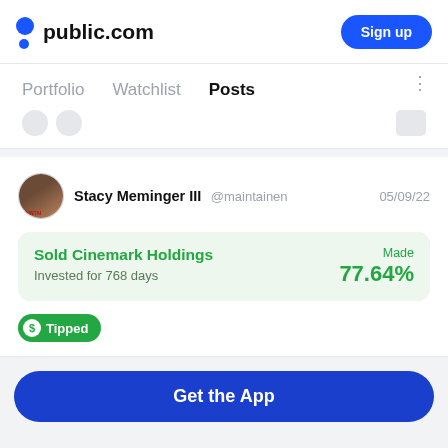public.com — Sign up
Portfolio   Watchlist   Posts
Stacy Meminger III @maintainen   05/09/22
Sold Cinemark Holdings
Invested for 768 days
Made 77.64%
Tipped
Get the App